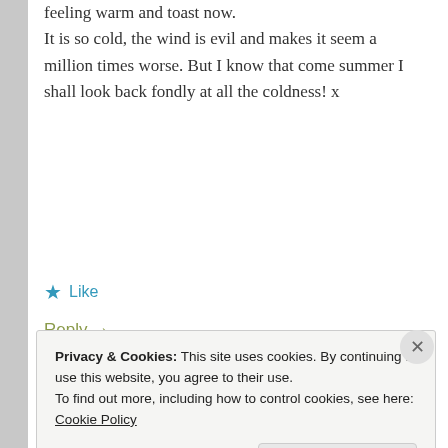feeling warm and toast now.
It is so cold, the wind is evil and makes it seem a million times worse. But I know that come summer I shall look back fondly at all the coldness! x
★ Like
Reply →
WHERETHEJOURNEYTAKESME
March 1, 2018 at 10:22 pm
Privacy & Cookies: This site uses cookies. By continuing to use this website, you agree to their use.
To find out more, including how to control cookies, see here: Cookie Policy
Close and accept